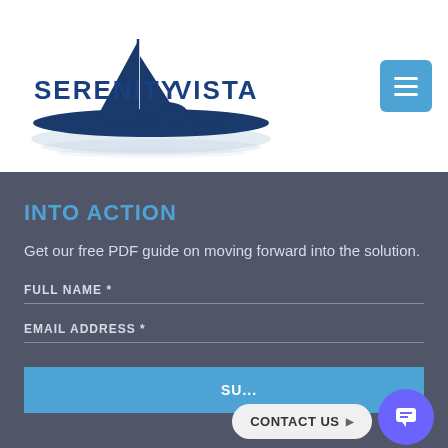[Figure (logo): Serenity Vista logo with sailboat and island illustration, text reading SERENITY VISTA in dark blue]
[Figure (other): Hamburger menu button, blue square with three white horizontal lines]
INTO ACTION
Get our free PDF guide on moving forward into the solution.
FULL NAME *
EMAIL ADDRESS *
[Figure (other): Blue submit button partially visible, CONTACT US chat bubble overlay, and purple chat icon button]
CONTACT US